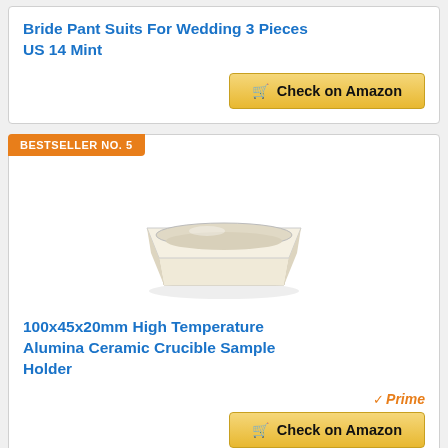Bride Pant Suits For Wedding 3 Pieces US 14 Mint
Check on Amazon
BESTSELLER NO. 5
[Figure (photo): White rectangular alumina ceramic crucible sample holder, photographed from slightly above on white background]
100x45x20mm High Temperature Alumina Ceramic Crucible Sample Holder
Prime
Check on Amazon